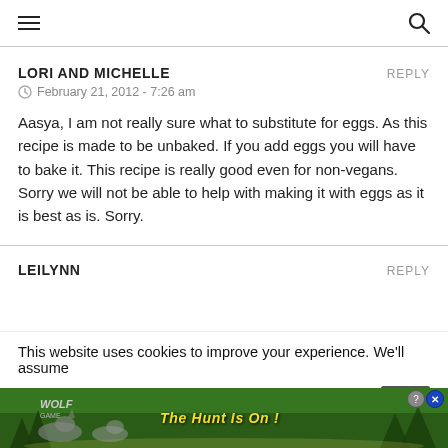≡  🔍
LORI AND MICHELLE
February 21, 2012 - 7:26 am
Aasya, I am not really sure what to substitute for eggs. As this recipe is made to be unbaked. If you add eggs you will have to bake it. This recipe is really good even for non-vegans. Sorry we will not be able to help with making it with eggs as it is best as is. Sorry.
LEILYNN
This website uses cookies to improve your experience. We'll assume you're ...
[Figure (screenshot): Wolf Game advertisement banner: 'THE HUNT IS ON!' with wolves in a forest landscape, close button with ? and X icons]